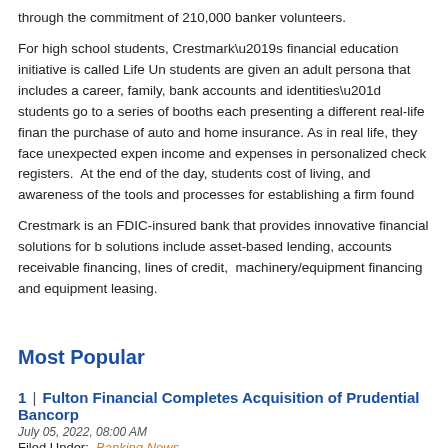through the commitment of 210,000 banker volunteers.
For high school students, Crestmark’s financial education initiative is called Life Un... students are given an adult persona that includes a career, family, bank accounts and identities” students go to a series of booths each presenting a different real-life finan... the purchase of auto and home insurance. As in real life, they face unexpected expen... income and expenses in personalized check registers. At the end of the day, students cost of living, and awareness of the tools and processes for establishing a firm found...
Crestmark is an FDIC-insured bank that provides innovative financial solutions for b... solutions include asset-based lending, accounts receivable financing, lines of credit, machinery/equipment financing and equipment leasing.
Most Popular
1 | Fulton Financial Completes Acquisition of Prudential Bancorp
July 05, 2022, 08:00 AM
Filed Under: Banking News
2 | KKR Closes $2.1B Asset-Based Finance Fund